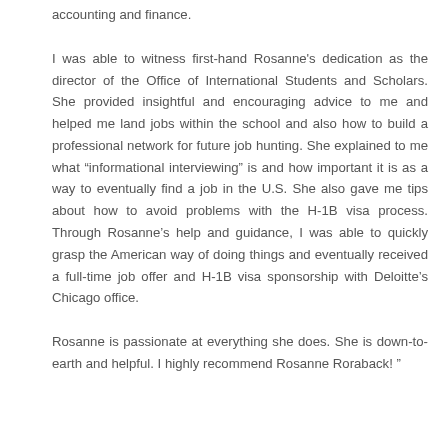accounting and finance.
I was able to witness first-hand Rosanne's dedication as the director of the Office of International Students and Scholars. She provided insightful and encouraging advice to me and helped me land jobs within the school and also how to build a professional network for future job hunting. She explained to me what “informational interviewing” is and how important it is as a way to eventually find a job in the U.S. She also gave me tips about how to avoid problems with the H-1B visa process. Through Rosanne’s help and guidance, I was able to quickly grasp the American way of doing things and eventually received a full-time job offer and H-1B visa sponsorship with Deloitte’s Chicago office.
Rosanne is passionate at everything she does. She is down-to-earth and helpful. I highly recommend Rosanne Roraback! ”